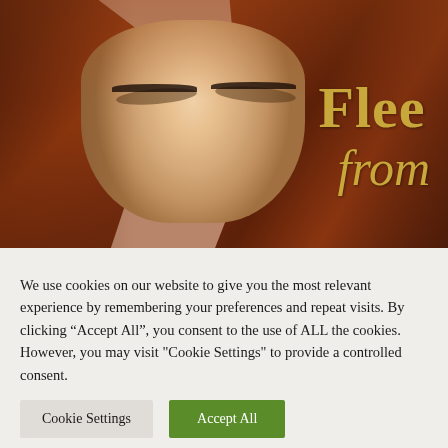[Figure (photo): A woman with long flowing auburn/red hair, eyes closed, photographed from above. Gold italic text 'Flee' and 'from' overlaid on the right side of the image over a warm background.]
We use cookies on our website to give you the most relevant experience by remembering your preferences and repeat visits. By clicking “Accept All”, you consent to the use of ALL the cookies. However, you may visit "Cookie Settings" to provide a controlled consent.